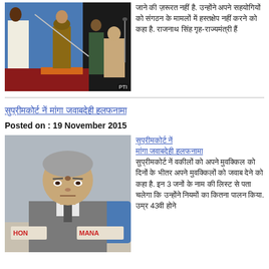[Figure (photo): A ceremony scene with military/official figures, one holding a sword, with an elderly official seated at right. PTI watermark visible.]
Hindi text paragraph describing an event or news item, ending with a compound word.
Hindi headline link (article title in Devanagari script)
Posted on : 19 November 2015
[Figure (photo): Close-up portrait of a grey-haired man in a suit seated at a conference table with nameplates reading HON and MANA visible.]
Hindi linked headline and article text about a Supreme Court-related matter, mentioning 3 judges and age 43.